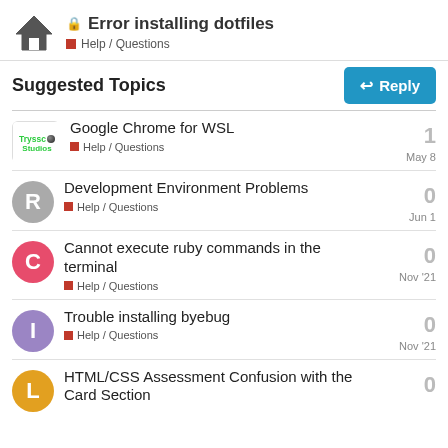Error installing dotfiles — Help / Questions
Suggested Topics
Google Chrome for WSL — Help / Questions — 1 — May 8
Development Environment Problems — Help / Questions — 0 — Jun 1
Cannot execute ruby commands in the terminal — Help / Questions — 0 — Nov '21
Trouble installing byebug — Help / Questions — 0 — Nov '21
HTML/CSS Assessment Confusion with the Card Section — 0